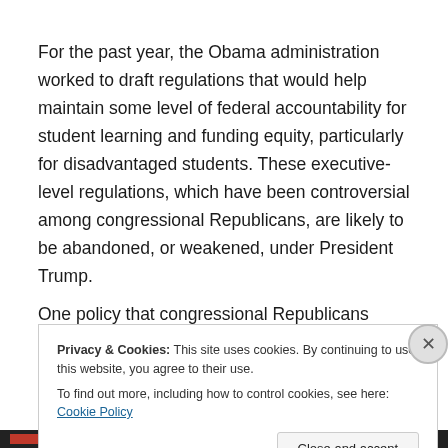For the past year, the Obama administration worked to draft regulations that would help maintain some level of federal accountability for student learning and funding equity, particularly for disadvantaged students. These executive-level regulations, which have been controversial among congressional Republicans, are likely to be abandoned, or weakened, under President Trump.
One policy that congressional Republicans might push for
Privacy & Cookies: This site uses cookies. By continuing to use this website, you agree to their use.
To find out more, including how to control cookies, see here: Cookie Policy